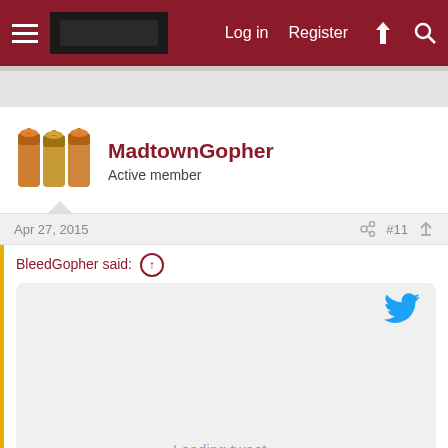Log in  Register
MadtownGopher
Active member
Apr 27, 2015  #11
BleedGopher said:
[Figure (screenshot): Embedded tweet area showing a Twitter bird icon, 'Loading tweet...' link in blue, and 'Click to expand...' text below]
One of the recruits: